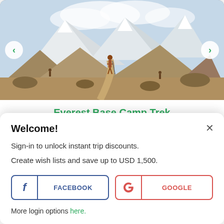[Figure (photo): Hikers on a trail toward Everest Base Camp with snow-capped mountains and rocky terrain in background]
Everest Base Camp Trek
★★★★☆ of 341 reviews
Days
12
⚡ From
US$ 1,020
Welcome!
Sign-in to unlock instant trip discounts.
Create wish lists and save up to USD 1,500.
FACEBOOK
GOOGLE
More login options here.